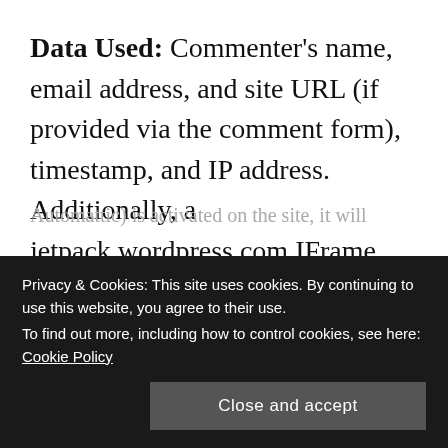Data Used: Commenter's name, email address, and site URL (if provided via the comment form), timestamp, and IP address. Additionally, a jetpack.wordpress.com IFrame receives the following data: WordPress.com blog ID attached to the site, ID of the post on which the comment is being submitted, commenter's local user ID (if available), commenter's local username (if available), commenter's site URL (if available), MD5 hash of the commenter's email address (if available), and the comment content. If Akismet (also owned by
Privacy & Cookies: This site uses cookies. By continuing to use this website, you agree to their use.
To find out more, including how to control cookies, see here: Cookie Policy
Close and accept